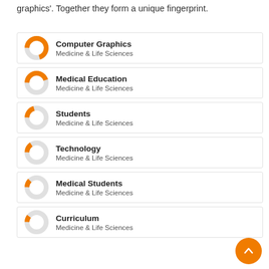graphics'. Together they form a unique fingerprint.
[Figure (donut-chart): Donut chart showing approximately 70% fill for Computer Graphics, Medicine & Life Sciences]
Computer Graphics
Medicine & Life Sciences
[Figure (donut-chart): Donut chart showing approximately 45% fill for Medical Education, Medicine & Life Sciences]
Medical Education
Medicine & Life Sciences
[Figure (donut-chart): Donut chart showing approximately 20% fill for Students, Medicine & Life Sciences]
Students
Medicine & Life Sciences
[Figure (donut-chart): Donut chart showing approximately 15% fill for Technology, Medicine & Life Sciences]
Technology
Medicine & Life Sciences
[Figure (donut-chart): Donut chart showing approximately 12% fill for Medical Students, Medicine & Life Sciences]
Medical Students
Medicine & Life Sciences
[Figure (donut-chart): Donut chart showing approximately 10% fill for Curriculum, Medicine & Life Sciences]
Curriculum
Medicine & Life Sciences